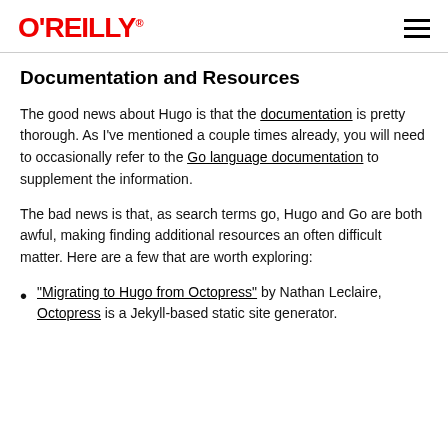O'REILLY®
Documentation and Resources
The good news about Hugo is that the documentation is pretty thorough. As I've mentioned a couple times already, you will need to occasionally refer to the Go language documentation to supplement the information.
The bad news is that, as search terms go, Hugo and Go are both awful, making finding additional resources an often difficult matter. Here are a few that are worth exploring:
"Migrating to Hugo from Octopress" by Nathan Leclaire, Octopress is a Jekyll-based static site generator.